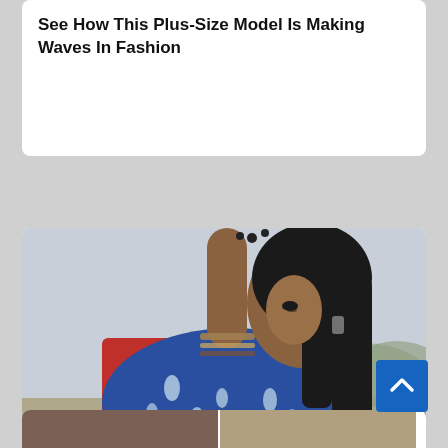See How This Plus-Size Model Is Making Waves In Fashion
[Figure (photo): Young Indian woman in traditional blue printed dupatta and red top, wearing bangles and jewelry, posing outdoors with hand raised to hair]
10 Special Beauty Tips That Make Indian Women So Beautiful
[Figure (photo): Partial view of two people at the bottom of the page, cropped]